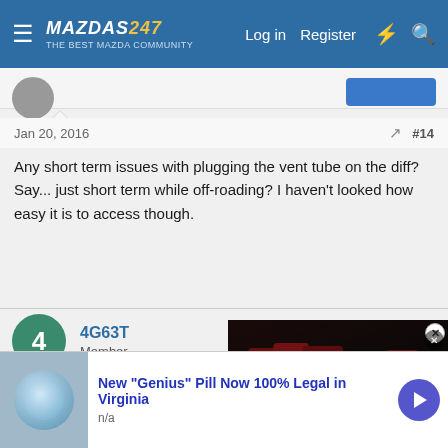MAZDAS247 — Log in | Register
Jan 20, 2016  #14
Any short term issues with plugging the vent tube on the diff? Say... just short term while off-roading? I haven't looked how easy it is to access though.
4G63T
Member
Jan 20, 2016
[Figure (screenshot): Video player overlay showing Mazda cars on dark background with play button and text 'MAZDA TALKS ELECTRIFICATION - STRATEGY']
Thanks for sharing . I will have to spring time to maybe extend the b necessary
New "Genius" Pill Now 100% Legal in Virginia
n/a